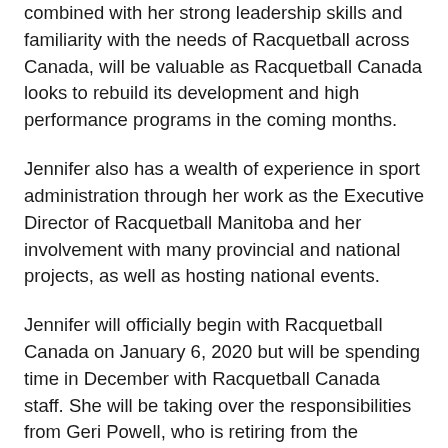combined with her strong leadership skills and familiarity with the needs of Racquetball across Canada, will be valuable as Racquetball Canada looks to rebuild its development and high performance programs in the coming months.
Jennifer also has a wealth of experience in sport administration through her work as the Executive Director of Racquetball Manitoba and her involvement with many provincial and national projects, as well as hosting national events.
Jennifer will officially begin with Racquetball Canada on January 6, 2020 but will be spending time in December with Racquetball Canada staff. She will be taking over the responsibilities from Geri Powell, who is retiring from the position at the end of December after several years of commitment to the organization.
Racquetball Canada is the national sport governing body for